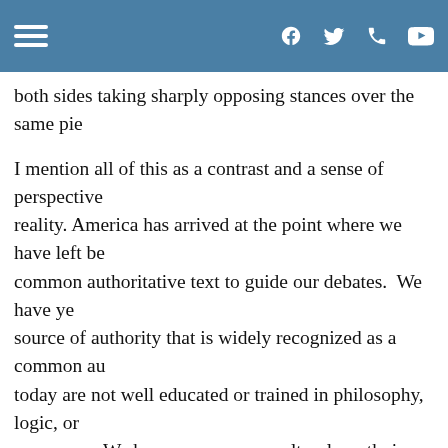hamburger menu | f (Facebook) | Twitter | Phone | YouTube
both sides taking sharply opposing stances over the same pie
I mention all of this as a contrast and a sense of perspective reality. America has arrived at the point where we have left be common authoritative text to guide our debates.  We have ye source of authority that is widely recognized as a common au today are not well educated or trained in philosophy, logic, or once were. We have no common cultural or ethnic heritage to currently agree on an authoritative way to understand and int without framing all of it in terms of a power struggle. We have have medicine and science, but we do not grasp that none of themselves actually provide grounding answers or meaning to same way that philosophy,
In such a climate, it makes great sense that everyone is susp